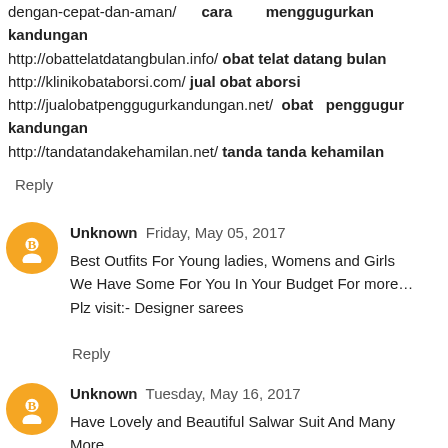dengan-cepat-dan-aman/ cara menggugurkan kandungan http://obattelatdatangbulan.info/ obat telat datang bulan http://klinikobataborsi.com/ jual obat aborsi http://jualobatpenggugurkandungan.net/ obat penggugur kandungan http://tandatandakehamilan.net/ tanda tanda kehamilan
Reply
Unknown Friday, May 05, 2017
Best Outfits For Young ladies, Womens and Girls
We Have Some For You In Your Budget For more…
Plz visit:- Designer sarees
Reply
Unknown Tuesday, May 16, 2017
Have Lovely and Beautiful Salwar Suit And Many More…
We Have Some For You In Your Budget For more…
Plz visit:- Designer Suit